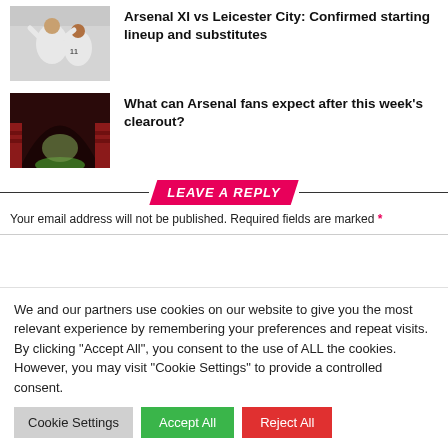[Figure (photo): Two Arsenal players in white jerseys celebrating, one wearing number 11]
Arsenal XI vs Leicester City: Confirmed starting lineup and substitutes
[Figure (photo): Arsenal stadium tunnel with red seats visible in the background]
What can Arsenal fans expect after this week's clearout?
LEAVE A REPLY
Your email address will not be published. Required fields are marked *
We and our partners use cookies on our website to give you the most relevant experience by remembering your preferences and repeat visits. By clicking "Accept All", you consent to the use of ALL the cookies. However, you may visit "Cookie Settings" to provide a controlled consent.